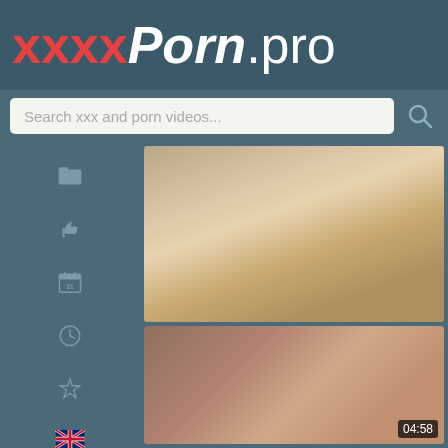xxxxPorn.pro
Search xxx and porn videos...
[Figure (screenshot): Website screenshot of xxxxPorn.pro showing header with logo, search bar, sidebar navigation icons, and video thumbnails]
04:58